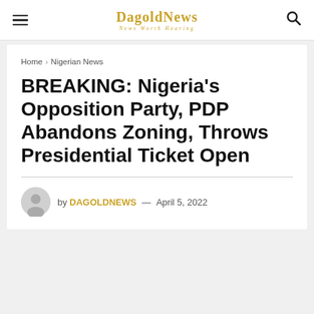DagoldNews — News Worth Hearing
Home › Nigerian News
BREAKING: Nigeria's Opposition Party, PDP Abandons Zoning, Throws Presidential Ticket Open
by DAGOLDNEWS — April 5, 2022